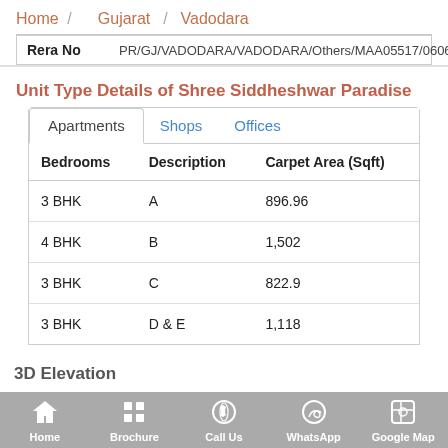Home / Gujarat / Vadodara
| Rera No | PR/GJ/VADODARA/VADODARA/Others/MAA05517/060619 |
| --- | --- |
Unit Type Details of Shree Siddheshwar Paradise
| Bedrooms | Description | Carpet Area (Sqft) |
| --- | --- | --- |
| 3 BHK | A | 896.96 |
| 4 BHK | B | 1,502 |
| 3 BHK | C | 822.9 |
| 3 BHK | D & E | 1,118 |
3D Elevation
Home   Brochure   Call Us   WhatsApp   Google Map